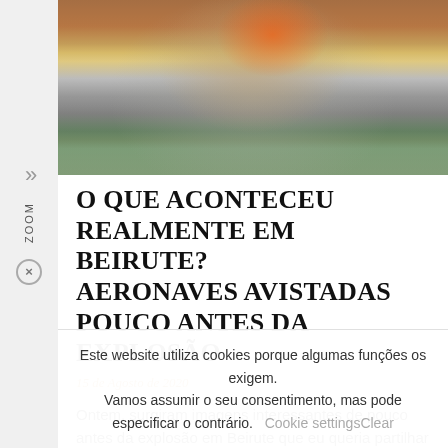[Figure (photo): Photograph of the Beirut explosion showing a large mushroom-shaped cloud of smoke and fire rising over the city skyline]
O QUE ACONTECEU REALMENTE EM BEIRUTE? AERONAVES AVISTADAS POUCO ANTES DA EXPLOSÃO
15 de Agosto de 2020
Ontem, surgiram imagens interessantes de pouco antes da explosão em Beirute que eu queria partilhar convosco. É claro que qualquer
Este website utiliza cookies porque algumas funções os exigem. Vamos assumir o seu consentimento, mas pode especificar o contrário. Cookie settingsClear